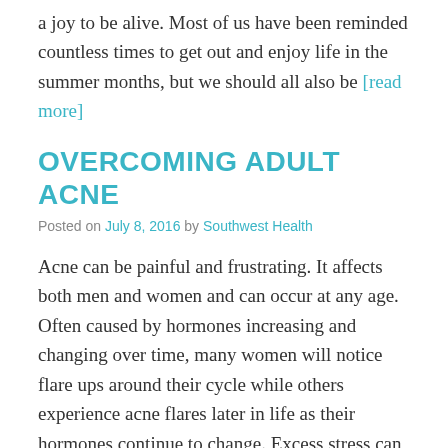a joy to be alive. Most of us have been reminded countless times to get out and enjoy life in the summer months, but we should all also be [read more]
OVERCOMING ADULT ACNE
Posted on July 8, 2016 by Southwest Health
Acne can be painful and frustrating. It affects both men and women and can occur at any age. Often caused by hormones increasing and changing over time, many women will notice flare ups around their cycle while others experience acne flares later in life as their hormones continue to change. Excess stress can make acne [read more]
WHY IS MY FACE RED?